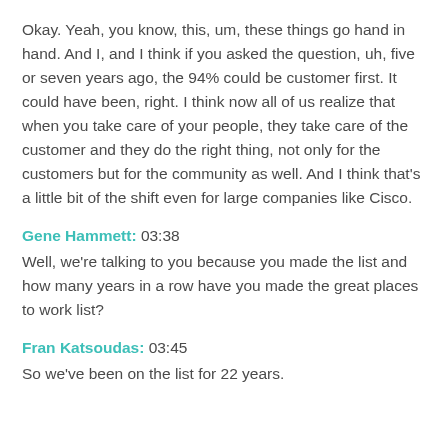Okay. Yeah, you know, this, um, these things go hand in hand. And I, and I think if you asked the question, uh, five or seven years ago, the 94% could be customer first. It could have been, right. I think now all of us realize that when you take care of your people, they take care of the customer and they do the right thing, not only for the customers but for the community as well. And I think that's a little bit of the shift even for large companies like Cisco.
Gene Hammett: 03:38
Well, we're talking to you because you made the list and how many years in a row have you made the great places to work list?
Fran Katsoudas: 03:45
So we've been on the list for 22 years.